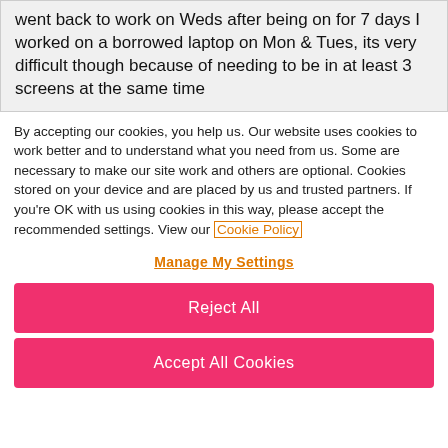went back to work on Weds after being on for 7 days I worked on a borrowed laptop on Mon & Tues, its very difficult though because of needing to be in at least 3 screens at the same time
By accepting our cookies, you help us. Our website uses cookies to work better and to understand what you need from us. Some are necessary to make our site work and others are optional. Cookies stored on your device and are placed by us and trusted partners. If you're OK with us using cookies in this way, please accept the recommended settings. View our Cookie Policy
Manage My Settings
Reject All
Accept All Cookies